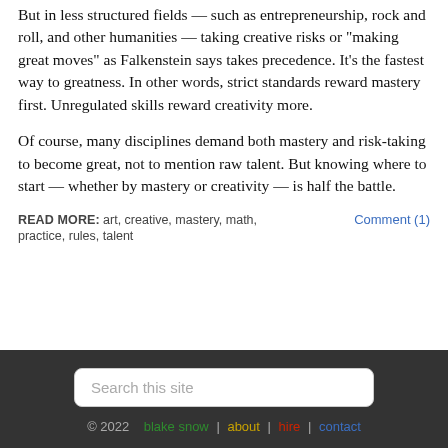But in less structured fields — such as entrepreneurship, rock and roll, and other humanities — taking creative risks or “making great moves” as Falkenstein says takes precedence. It’s the fastest way to greatness. In other words, strict standards reward mastery first. Unregulated skills reward creativity more.
Of course, many disciplines demand both mastery and risk-taking to become great, not to mention raw talent. But knowing where to start — whether by mastery or creativity — is half the battle.
READ MORE: art, creative, mastery, math, practice, rules, talent   Comment (1)
Search this site  © 2022  blake snow | about | hire | contact